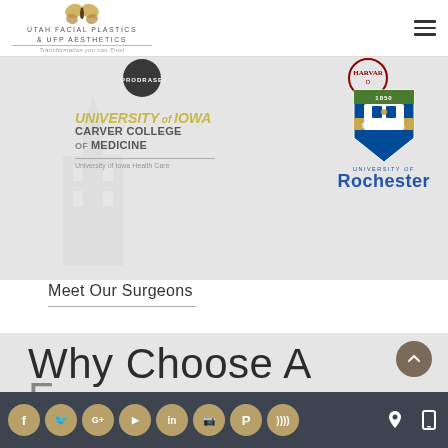UTAH FACIAL PLASTICS & UFP AESTHETICS — Transformation you can Trust
[Figure (logo): University logos banner showing University of Iowa Carver College of Medicine and University of Rochester Meliora shield logos on grey background, with partial Prodrase and Harvard logos at top]
Meet Our Surgeons
[Figure (illustration): Why Choose A [partial text] banner on grey background with scroll-to-top button]
Social media icons: Facebook, Twitter, Google, YouTube, LinkedIn, Instagram, Pinterest, RSS. Location and mobile icons on right.